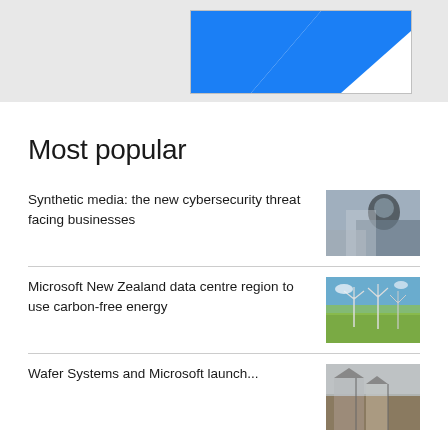[Figure (illustration): Top banner with light grey background containing a white box with blue diagonal graphic (Microsoft-style logo or banner image)]
Most popular
Synthetic media: the new cybersecurity threat facing businesses
[Figure (photo): Photo of a man wearing glasses working in what appears to be a technology or laboratory environment]
Microsoft New Zealand data centre region to use carbon-free energy
[Figure (photo): Photo of wind turbines on green fields under a blue sky]
Wafer Systems and Microsoft launch...